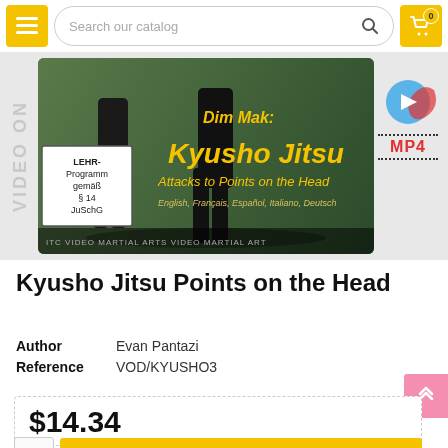Search our catalog
[Figure (photo): DVD/video cover for Dim Mak Kyusho Jitsu - Attacks to Points on the Head, showing martial arts figures, with text in multiple languages and an MP4 badge. Has a LEHR-Programm gemäß § 14 JuSchG label.]
Kyusho Jitsu Points on the Head
Author    Evan Pantazi
Reference    VOD/KYUSHO3
$14.34